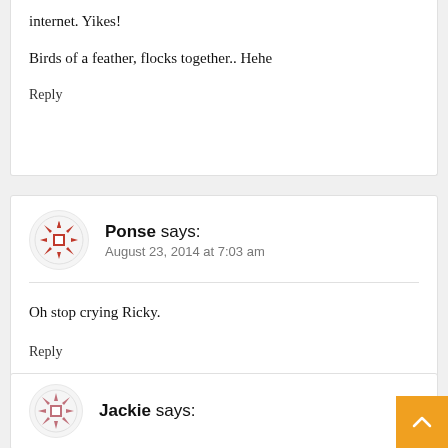internet. Yikes!
Birds of a feather, flocks together.. Hehe
Reply
Ponse says:
August 23, 2014 at 7:03 am
Oh stop crying Ricky.
Reply
Jackie says: